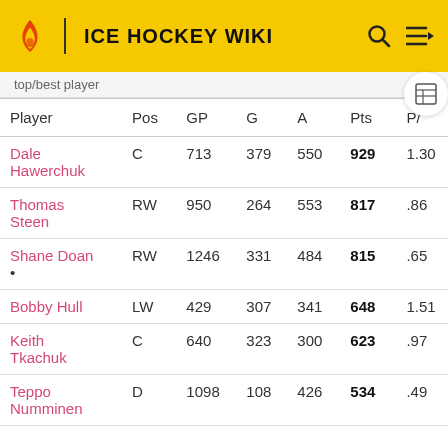ICE HOCKEY WIKI
top/best player
| Player | Pos | GP | G | A | Pts | P/ |
| --- | --- | --- | --- | --- | --- | --- |
| Dale Hawerchuk | C | 713 | 379 | 550 | 929 | 1.30 |
| Thomas Steen | RW | 950 | 264 | 553 | 817 | .86 |
| Shane Doan • | RW | 1246 | 331 | 484 | 815 | .65 |
| Bobby Hull | LW | 429 | 307 | 341 | 648 | 1.51 |
| Keith Tkachuk | C | 640 | 323 | 300 | 623 | .97 |
| Teppo Numminen | D | 1098 | 108 | 426 | 534 | .49 |